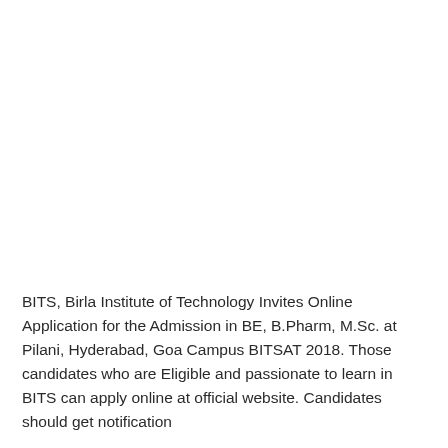BITS, Birla Institute of Technology Invites Online Application for the Admission in BE, B.Pharm, M.Sc. at Pilani, Hyderabad, Goa Campus BITSAT 2018. Those candidates who are Eligible and passionate to learn in BITS can apply online at official website. Candidates should get notification